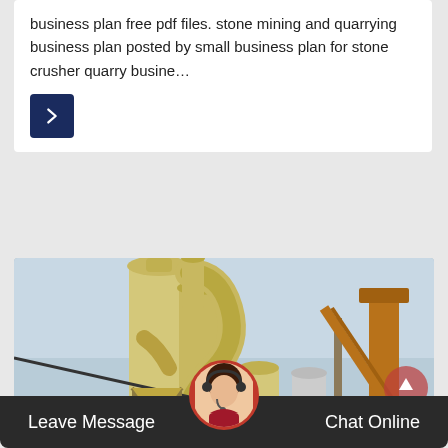business plan free pdf files. stone mining and quarrying business plan posted by small business plan for stone crusher quarry busine…
[Figure (photo): Industrial stone crushing and grinding machinery installation with large yellow silos, dust collectors, pipes, and conveyor equipment outdoors]
Leave Message
Chat Online